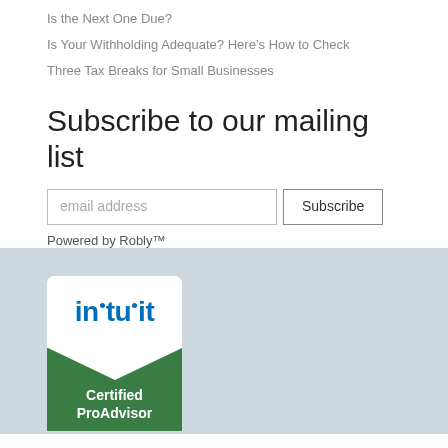Is the Next One Due?
Is Your Withholding Adequate? Here’s How to Check
Three Tax Breaks for Small Businesses
Subscribe to our mailing list
email address  Subscribe
Powered by Robly™
[Figure (logo): Intuit Certified ProAdvisor badge with blue Intuit logo on white background and green chevron area with white text 'Certified ProAdvisor']